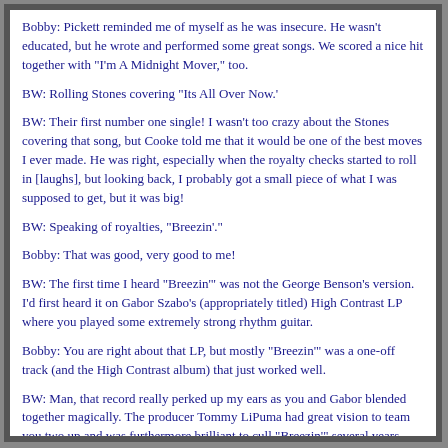Bobby: Pickett reminded me of myself as he was insecure. He wasn't educated, but he wrote and performed some great songs. We scored a nice hit together with "I'm A Midnight Mover," too.
BW: Rolling Stones covering "Its All Over Now.'
BW: Their first number one single! I wasn't too crazy about the Stones covering that song, but Cooke told me that it would be one of the best moves I ever made. He was right, especially when the royalty checks started to roll in [laughs], but looking back, I probably got a small piece of what I was supposed to get, but it was big!
BW: Speaking of royalties, "Breezin'."
Bobby: That was good, very good to me!
BW: The first time I heard "Breezin'" was not the George Benson's version. I'd first heard it on Gabor Szabo's (appropriately titled) High Contrast LP where you played some extremely strong rhythm guitar.
Bobby: You are right about that LP, but mostly "Breezin'" was a one-off track (and the High Contrast album) that just worked well.
BW: Man, that record really perked up my ears as you and Gabor blended together magically. The producer Tommy LiPuma had great vision to team you two up and was furthermore brilliant to cull "Breezin'" several years later to score a smash hit and a Grammy for George Benson.
Bobby: Sometimes you never know where these things go, but I am glad it worked out for Benson, and for me!
BW: It sure did. So, with an incredible history, what's next for Bobby...